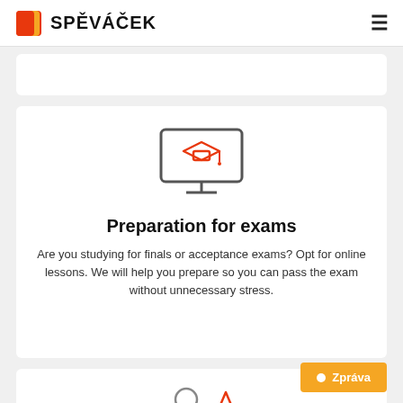SPĚVÁČEK
[Figure (illustration): Monitor/screen icon with a graduation cap (mortarboard) in red outline style, on a white card background]
Preparation for exams
Are you studying for finals or acceptance exams? Opt for online lessons. We will help you prepare so you can pass the exam without unnecessary stress.
[Figure (illustration): Partial illustration at bottom showing a person/profile icon with a triangle warning symbol, partially cut off]
Zpráva